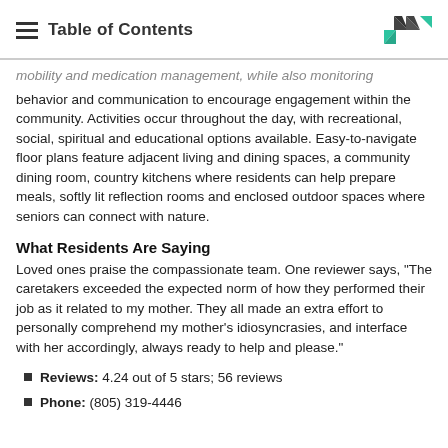Table of Contents
mobility and medication management, while also monitoring behavior and communication to encourage engagement within the community. Activities occur throughout the day, with recreational, social, spiritual and educational options available. Easy-to-navigate floor plans feature adjacent living and dining spaces, a community dining room, country kitchens where residents can help prepare meals, softly lit reflection rooms and enclosed outdoor spaces where seniors can connect with nature.
What Residents Are Saying
Loved ones praise the compassionate team. One reviewer says, "The caretakers exceeded the expected norm of how they performed their job as it related to my mother. They all made an extra effort to personally comprehend my mother’s idiosyncrasies, and interface with her accordingly, always ready to help and please."
Reviews: 4.24 out of 5 stars; 56 reviews
Phone: (805) 319-4446